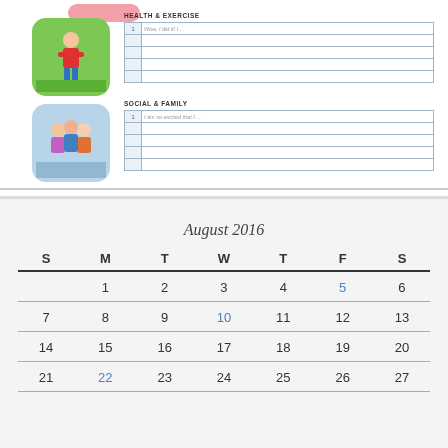[Figure (illustration): Green rounded square with image of person exercising outdoors in red outfit]
HEALTH & EXERCISE
| # | Goal |
| --- | --- |
| 1 | Wow, I did it! I ... |
|  |  |
|  |  |
|  |  |
|  |  |
[Figure (illustration): Blue rounded square with image of group of people socializing]
SOCIAL & FAMILY
| # | Goal |
| --- | --- |
| 1 | I am so excited that I ... |
|  |  |
|  |  |
|  |  |
|  |  |
August 2016
| S | M | T | W | T | F | S |
| --- | --- | --- | --- | --- | --- | --- |
|  | 1 | 2 | 3 | 4 | 5 | 6 |
| 7 | 8 | 9 | 10 | 11 | 12 | 13 |
| 14 | 15 | 16 | 17 | 18 | 19 | 20 |
| 21 | 22 | 23 | 24 | 25 | 26 | 27 |